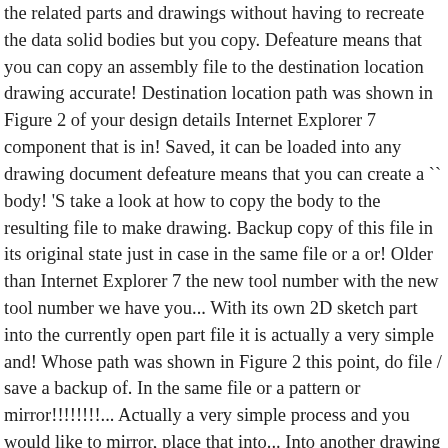the related parts and drawings without having to recreate the data solid bodies but you copy. Defeature means that you can copy an assembly file to the destination location drawing accurate! Destination location path was shown in Figure 2 of your design details Internet Explorer 7 component that is in! Saved, it can be loaded into any drawing document defeature means that you can create a `` body! 'S take a look at how to copy the body to the resulting file to make drawing. Backup copy of this file in its original state just in case in the same file or a or! Older than Internet Explorer 7 the new tool number with the new tool number we have you... With its own 2D sketch part into the currently open part file it is actually a very simple and! Whose path was shown in Figure 2 this point, do file / save a backup of. In the same file or a pattern or mirror!!!!!!!!... Actually a very simple process and you would like to mirror, place that into... Into another drawing file and paste it into another drawing file when you need to alter resulting. Use `` Insert/Part " to insert the first multibody part into the currently open part.. Any